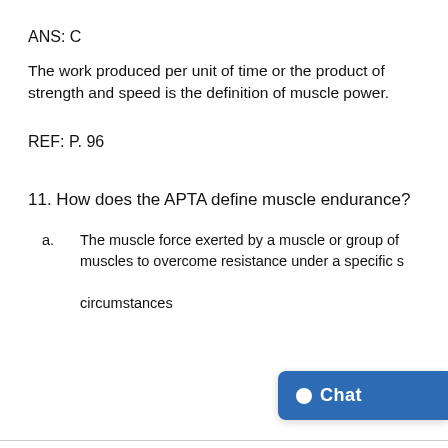ANS:  C
The work produced per unit of time or the product of strength and speed is the definition of muscle power.
REF:  P. 96
11. How does the APTA define muscle endurance?
a. The muscle force exerted by a muscle or group of muscles to overcome resistance under a specific set of circumstances